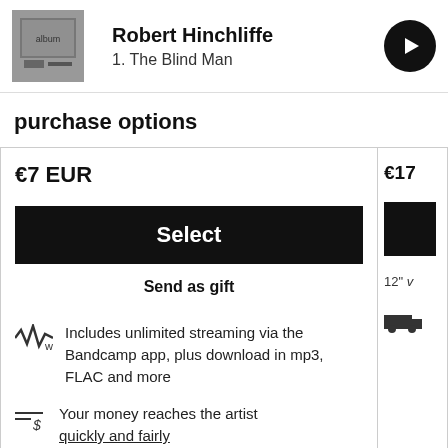Robert Hinchliffe
1. The Blind Man
purchase options
€7 EUR
Select
Send as gift
Includes unlimited streaming via the Bandcamp app, plus download in mp3, FLAC and more
Your money reaches the artist quickly and fairly
€17